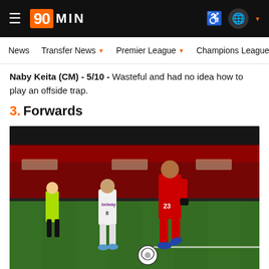90MIN
News | Transfer News | Premier League | Champions League | Eu
Naby Keita (CM) - 5/10 - Wasteful and had no idea how to play an offside trap.
3. Forwards
[Figure (photo): A Liverpool player wearing number 23 in red drives forward with the ball while a West Ham player in white with 'betway' sponsor attempts to defend. A referee in yellow is visible in the background on a football pitch.]